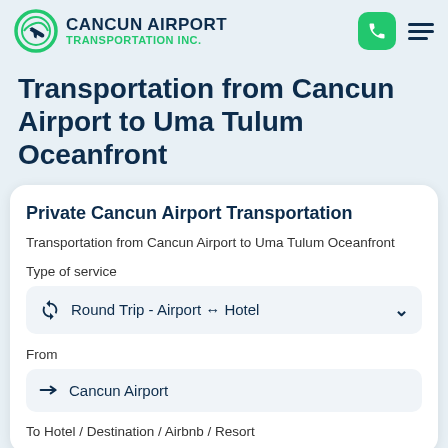Cancun Airport Transportation Inc.
Transportation from Cancun Airport to Uma Tulum Oceanfront
Private Cancun Airport Transportation
Transportation from Cancun Airport to Uma Tulum Oceanfront
Type of service
Round Trip - Airport ↔ Hotel
From
Cancun Airport
To Hotel / Destination / Airbnb / Resort